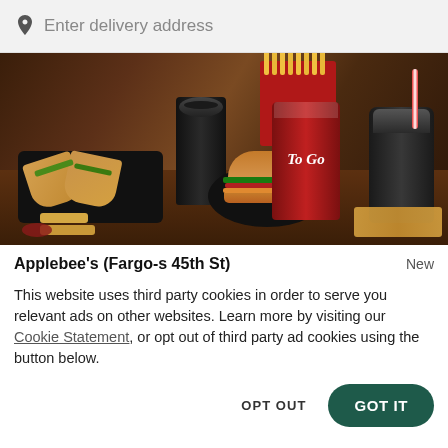Enter delivery address
[Figure (photo): Food photo showing Applebee's to-go items: tacos on a tray, a burger, french fries in a red box, red To Go branded cup, and two dark soda cups on a wooden table surface.]
Applebee's (Fargo-s 45th St)  New
This website uses third party cookies in order to serve you relevant ads on other websites. Learn more by visiting our Cookie Statement, or opt out of third party ad cookies using the button below.
OPT OUT
GOT IT